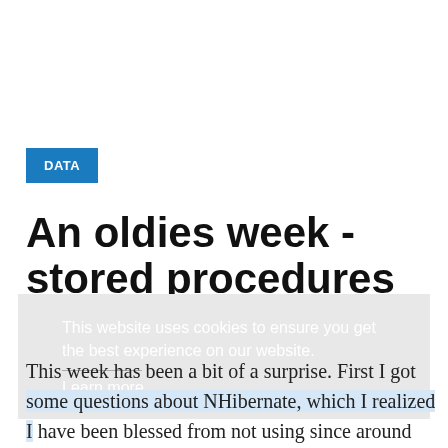DATA
An oldies week - stored procedures
This website uses cookies to ensure you get the best experience on our website.
Learn more
This week has been a bit of a surprise. First I got some questions about NHibernate, which I realized I have been blessed from not using since around 2011,